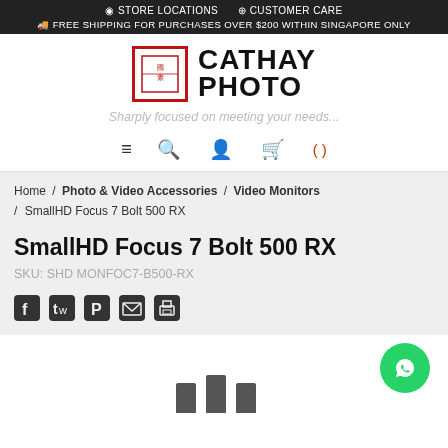STORE LOCATIONS   CUSTOMER CARE   FREE SHIPPING FOR PURCHASES OVER $200 WITHIN SINGAPORE ONLY
[Figure (logo): Cathay Photo logo: red bordered box with decorative Chinese-style motif, next to bold text CATHAY PHOTO]
Sharply focused on meeting your needs...
[Figure (infographic): Navigation icons: hamburger menu, search magnifier, user profile, shopping bag, and cart count in red parentheses]
Home / Photo & Video Accessories / Video Monitors / SmallHD Focus 7 Bolt 500 RX
SmallHD Focus 7 Bolt 500 RX
SKU: SHD MONFOC7-B500-RX
[Figure (infographic): Social sharing icons: Facebook, Twitter, Pinterest, Email, Print]
[Figure (infographic): WhatsApp contact button - green circle with white WhatsApp phone/chat icon]
[Figure (photo): Partial product image visible at bottom - dark bars suggesting SmallHD Focus 7 Bolt 500 RX monitor device]